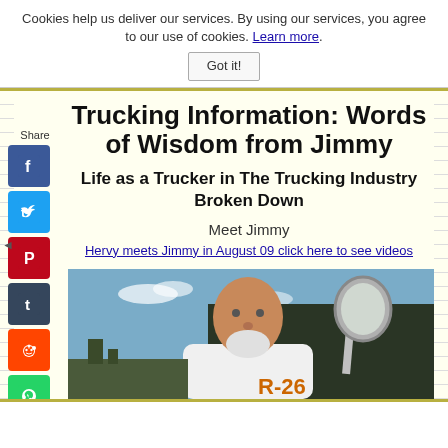Cookies help us deliver our services. By using our services, you agree to our use of cookies. Learn more. Got it!
Trucking Information: Words of Wisdom from Jimmy
Life as a Trucker in The Trucking Industry Broken Down
Meet Jimmy
Hervy meets Jimmy in August 09 click here to see videos
[Figure (photo): Photo of Jimmy, a bald older man with a white beard, standing in front of a large semi truck cab. A side mirror and mount are visible. Text R-26 visible on the truck.]